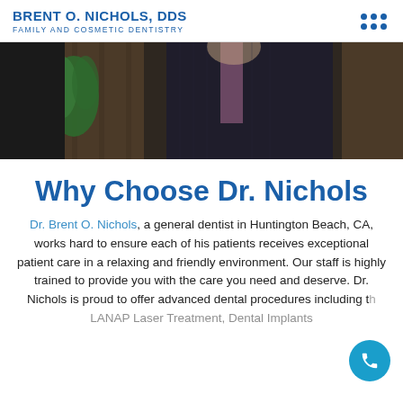BRENT O. NICHOLS, DDS FAMILY AND COSMETIC DENTISTRY
[Figure (photo): Photo of Dr. Brent O. Nichols in a dark suit, standing outdoors with plants visible in the background]
Why Choose Dr. Nichols
Dr. Brent O. Nichols, a general dentist in Huntington Beach, CA, works hard to ensure each of his patients receives exceptional patient care in a relaxing and friendly environment. Our staff is highly trained to provide you with the care you need and deserve. Dr. Nichols is proud to offer advanced dental procedures including the LANAP Laser Treatment, Dental Implants